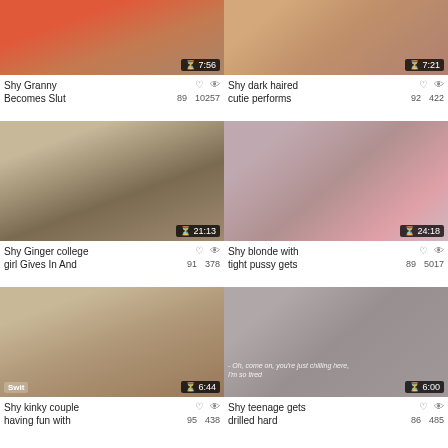[Figure (screenshot): Video thumbnail 1 - top left]
Shy Granny Becomes Slut
89  10257
[Figure (screenshot): Video thumbnail 2 - top right]
Shy dark haired cutie performs
92  422
[Figure (screenshot): Video thumbnail 3 - middle left]
Shy Ginger college girl Gives In And
91  378
[Figure (screenshot): Video thumbnail 4 - middle right]
Shy blonde with tight pussy gets
89  5017
[Figure (screenshot): Video thumbnail 5 - bottom left]
Shy kinky couple having fun with
95  438
[Figure (screenshot): Video thumbnail 6 - bottom right]
Shy teenage gets drilled hard
86  485